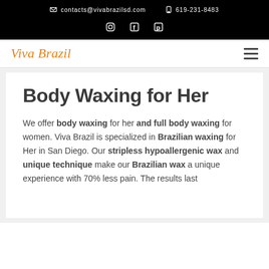contacts@vivabrazilsd.com  619-231-8483
Viva Brazil
Body Waxing for Her
We offer body waxing for her and full body waxing for women. Viva Brazil is specialized in Brazilian waxing for Her in San Diego. Our stripless hypoallergenic wax and unique technique make our Brazilian wax a unique experience with 70% less pain. The results last